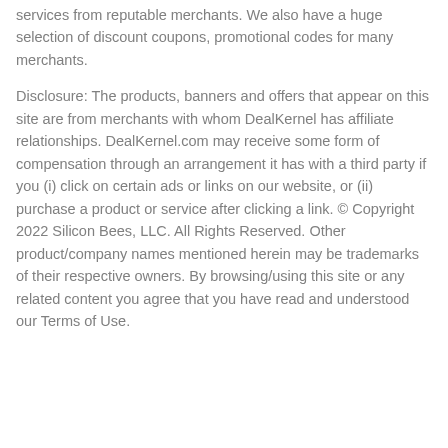services from reputable merchants. We also have a huge selection of discount coupons, promotional codes for many merchants.
Disclosure: The products, banners and offers that appear on this site are from merchants with whom DealKernel has affiliate relationships. DealKernel.com may receive some form of compensation through an arrangement it has with a third party if you (i) click on certain ads or links on our website, or (ii) purchase a product or service after clicking a link. © Copyright 2022 Silicon Bees, LLC. All Rights Reserved. Other product/company names mentioned herein may be trademarks of their respective owners. By browsing/using this site or any related content you agree that you have read and understood our Terms of Use.